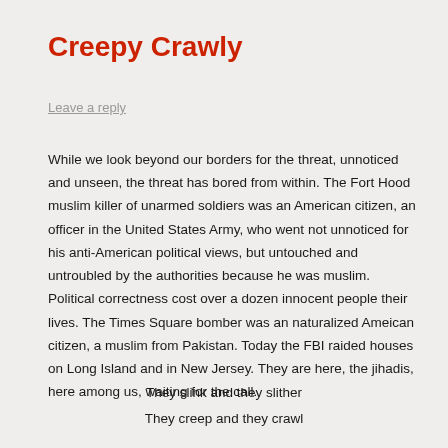Creepy Crawly
Leave a reply
While we look beyond our borders for the threat, unnoticed and unseen, the threat has bored from within. The Fort Hood muslim killer of unarmed soldiers was an American citizen, an officer in the United States Army, who went not unnoticed for his anti-American political views, but untouched and untroubled by the authorities because he was muslim. Political correctness cost over a dozen innocent people their lives. The Times Square bomber was an naturalized Ameican citizen, a muslim from Pakistan. Today the FBI raided houses on Long Island and in New Jersey. They are here, the jihadis, here among us, waiting for the call.
They slink and they slither
They creep and they crawl